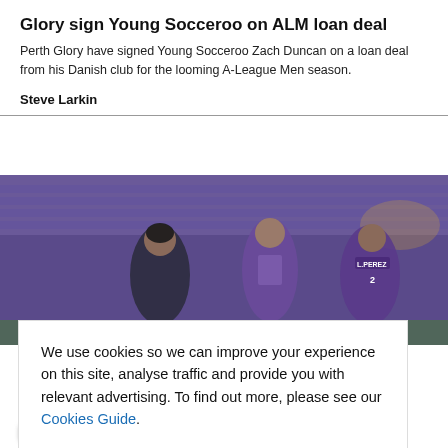Glory sign Young Socceroo on ALM loan deal
Perth Glory have signed Young Socceroo Zach Duncan on a loan deal from his Danish club for the looming A-League Men season.
Steve Larkin
[Figure (photo): Soccer match photo showing players in purple and dark jerseys competing on a pitch with purple stadium seats in the background]
We use cookies so we can improve your experience on this site, analyse traffic and provide you with relevant advertising. To find out more, please see our Cookies Guide.

By continuing to use this site, you agree to our use of cookies.